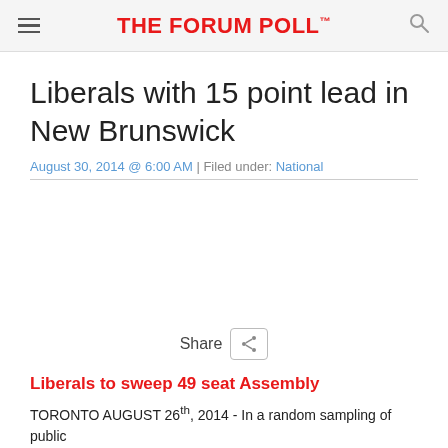THE FORUM POLL™
Liberals with 15 point lead in New Brunswick
August 30, 2014 @ 6:00 AM | Filed under: National
Share
Liberals to sweep 49 seat Assembly
TORONTO AUGUST 26th, 2014 - In a random sampling of public